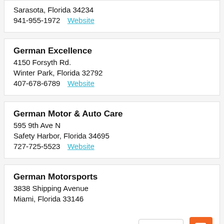Sarasota, Florida 34234
941-955-1972  Website
German Excellence
4150 Forsyth Rd.
Winter Park, Florida 32792
407-678-6789  Website
German Motor & Auto Care
595 9th Ave N
Safety Harbor, Florida 34695
727-725-5523  Website
German Motorsports
3838 Shipping Avenue
Miami, Florida 33146